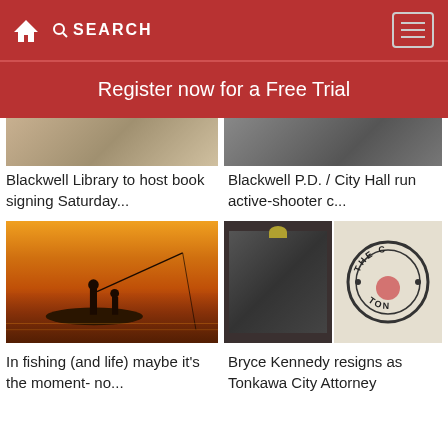SEARCH
Register now for a Free Trial
[Figure (photo): Partial photo of Blackwell Library article, cropped at top]
Blackwell Library to host book signing Saturday...
[Figure (photo): Partial photo of Blackwell P.D. / City Hall article, cropped at top]
Blackwell P.D. / City Hall run active-shooter c...
[Figure (photo): Fishing silhouette at sunset on water]
In fishing (and life) maybe it's the moment- no...
[Figure (photo): Two photos: dark interior and circular badge reading TON with Bryce Kennedy article]
Bryce Kennedy resigns as Tonkawa City Attorney